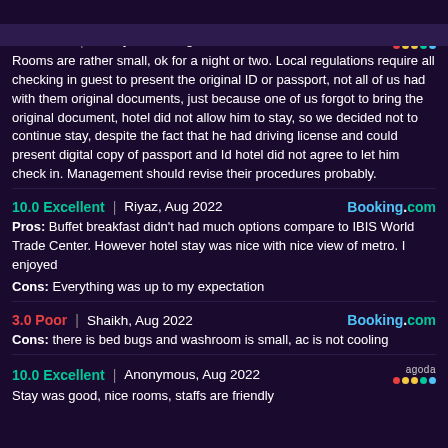7.2 Good | Anonymous, Aug 2022
Rooms are rather small, ok for a night or two. Local regulations require all checking in guest to present the original ID or passport, not all of us had with them original documents, just because one of us forgot to bring the original document, hotel did not allow him to stay, so we decided not to continue stay, despite the fact that he had driving license and could present digital copy of passport and Id hotel did not agree to let him check in. Management should revise their procedures probably.
10.0 Excellent | Riyaz, Aug 2022
Pros: Buffet breakfast didn't had much options compare to IBIS World Trade Center. However hotel stay was nice with nice view of metro. I enjoyed
Cons: Everything was up to my expectation
3.0 Poor | Shaikh, Aug 2022
Cons: there is bed bugs and washroom is small, ac is not cooling
10.0 Excellent | Anonymous, Aug 2022
Stay was good, nice rooms, staffs are friendly